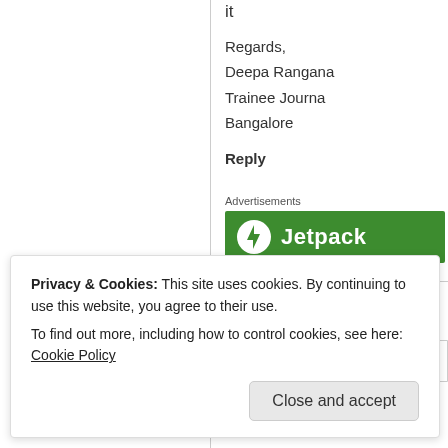it
Regards,
Deepa Rangana
Trainee Journa
Bangalore
Reply
Advertisements
[Figure (logo): Jetpack logo banner - green background with white lightning bolt icon and 'Jetpack' text in white]
Inquisitive     Dear
Privacy & Cookies: This site uses cookies. By continuing to use this website, you agree to their use.
To find out more, including how to control cookies, see here: Cookie Policy
Close and accept